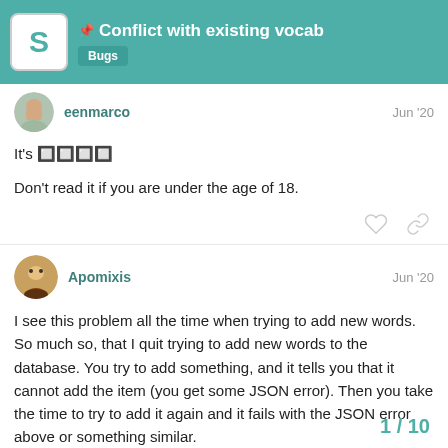Conflict with existing vocab — Bugs
eenmarco — Jun '20
It's 🔲🔲🔲🔲

Don't read it if you are under the age of 18.
Apomixis — Jun '20
I see this problem all the time when trying to add new words. So much so, that I quit trying to add new words to the database. You try to add something, and it tells you that it cannot add the item (you get some JSON error). Then you take the time to try to add it again and it fails with the JSON error above or something similar.
1 / 10